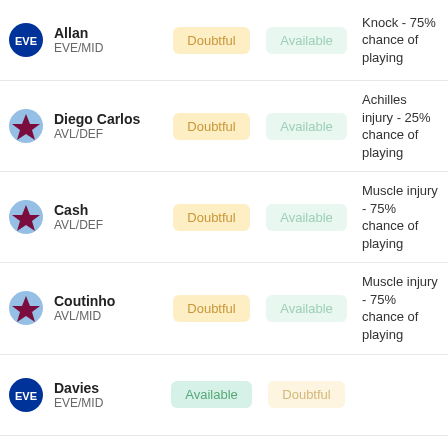Allan EVE/MID | Doubtful | Available | Knock - 75% chance of playing
Diego Carlos AVL/DEF | Doubtful | Available | Achilles injury - 25% chance of playing
Cash AVL/DEF | Doubtful | Available | Muscle injury - 75% chance of playing
Coutinho AVL/MID | Doubtful | Available | Muscle injury - 75% chance of playing
Davies EVE/MID | Available | Doubtful
Coleman | Available | Doubtful